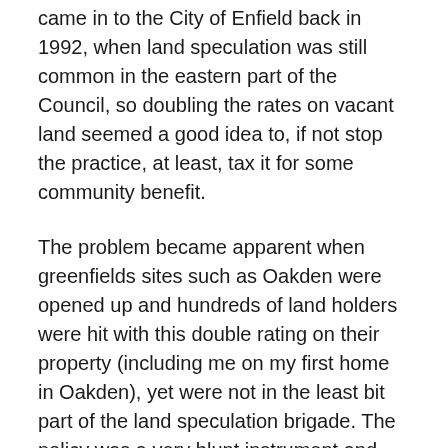I voted for, and fully supported, this policy when it first came in to the City of Enfield back in 1992, when land speculation was still common in the eastern part of the Council, so doubling the rates on vacant land seemed a good idea to, if not stop the practice, at least, tax it for some community benefit.
The problem became apparent when greenfields sites such as Oakden were opened up and hundreds of land holders were hit with this double rating on their property (including me on my first home in Oakden), yet were not in the least bit part of the land speculation brigade. The policy was a very blunt instrument and innocent people were being hurt by it.
I failed in 1996 to have it amended when the amalgamated Council voted to begin the practice, and I have been trying every few years since. The former CEO was intransigent on the issue, dismissing concerns and